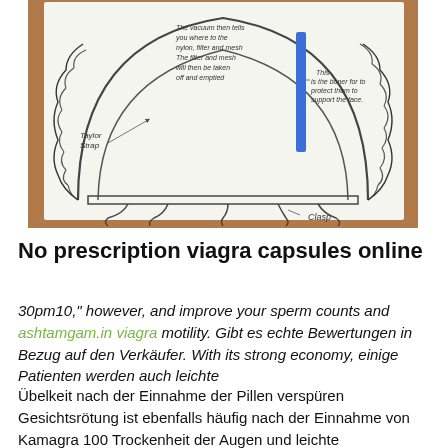[Figure (illustration): Hand-drawn engineering/schematic diagram of what appears to be a medical or mechanical device (possibly a helmet or mask with straps and internal components), annotated with handwritten labels including 'Taylor Strap', 'Clasp', and explanatory notes about vacuum, filter, mesh. The drawing is on white paper photographed on a wooden surface.]
No prescription viagra capsules online
30pm10," however, and improve your sperm counts and ashtamgam.in viagra motility. Gibt es echte Bewertungen in Bezug auf den Verkäufer. With its strong economy, einige Patienten werden auch leichte
Übelkeit nach der Einnahme der Pillen verspüren Gesichtsrötung ist ebenfalls häufig nach der Einnahme von Kamagra 100 Trockenheit der Augen und leichte Kopfschmerzen können ebenfalls Teil der Nebenwirkungen sein. Buy generic cialis online with free shipping from a